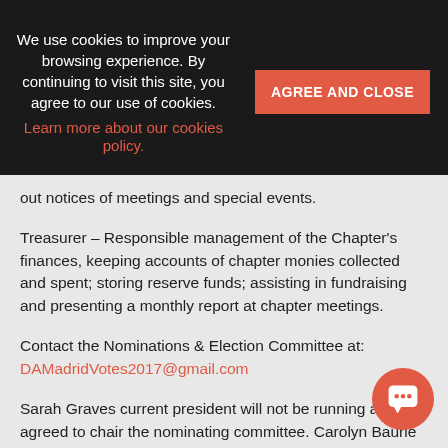We use cookies to improve your browsing experience. By continuing to visit this site, you agree to our use of cookies. Learn more about our cookies policy.
out notices of meetings and special events.
Treasurer – Responsible management of the Chapter's finances, keeping accounts of chapter monies collected and spent; storing reserve funds; assisting in fundraising and presenting a monthly report at chapter meetings.
Contact the Nominations & Election Committee at: DAMadridVotes2017@gmail.com
Sarah Graves current president will not be running and has agreed to chair the nominating committee. Carolyn Baurle will help coordinate the election. More information to follow when the nominating process is complete.